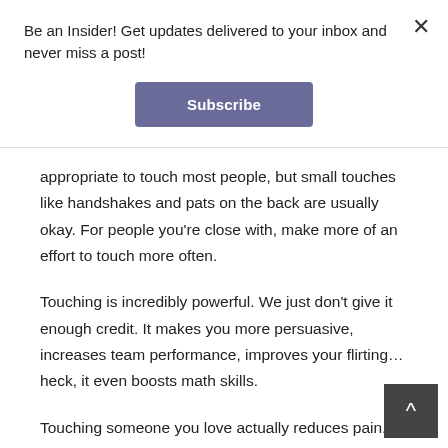Be an Insider! Get updates delivered to your inbox and never miss a post!
Subscribe
appropriate to touch most people, but small touches like handshakes and pats on the back are usually okay. For people you're close with, make more of an effort to touch more often.
Touching is incredibly powerful. We just don't give it enough credit. It makes you more persuasive, increases team performance, improves your flirting… heck, it even boosts math skills.
Touching someone you love actually reduces pain. In fact, when studies were done on married